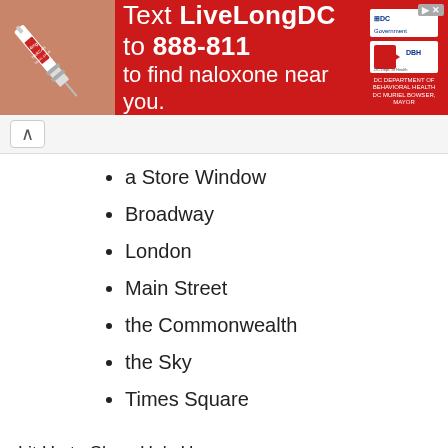[Figure (infographic): Red advertisement banner: 'Text LiveLongDC to 888-811 to find naloxone near you.' with DC government logos and syringe image]
a Store Window
Broadway
London
Main Street
the Commonwealth
the Sky
Times Square
Lit Up to Show He's Human
Little Bit On the Go
Little Off the Beam
Little Round the Corner
Little Tight
Little Woozy
Liver-lubed